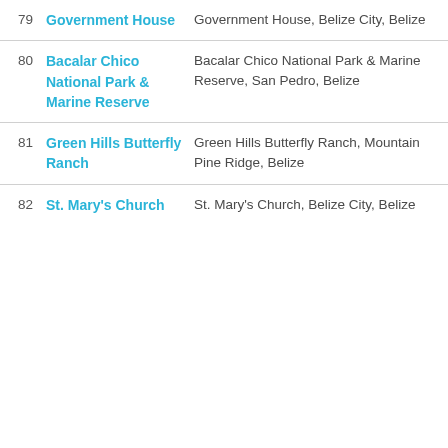| # | Name | Location |
| --- | --- | --- |
| 79 | Government House | Government House, Belize City, Belize |
| 80 | Bacalar Chico National Park & Marine Reserve | Bacalar Chico National Park & Marine Reserve, San Pedro, Belize |
| 81 | Green Hills Butterfly Ranch | Green Hills Butterfly Ranch, Mountain Pine Ridge, Belize |
| 82 | St. Mary's Church | St. Mary's Church, Belize City, Belize |